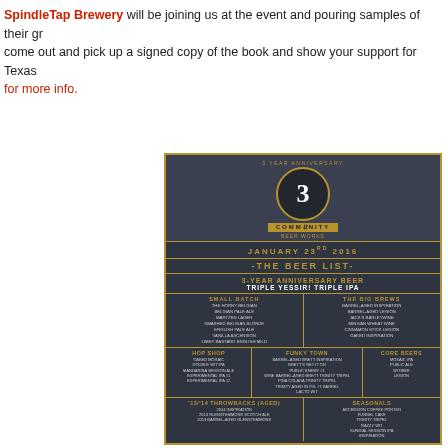SpindleTap Brewery will be joining us at the event and pouring samples of their gr... come out and pick up a signed copy of the book and show your support for Texas... for more info.
[Figure (infographic): Community Beer Works 3-Year Anniversary Beer List flyer for January 23rd 2016, listing beers under categories: 3-Year Anniversary Beer (Triple Yessir! Triple IPA), Small Batch, The Big Brews, Hop Shop, Funky Town, Core Beers, 13/14 Throwbacks (Aged), and Seasonals.]